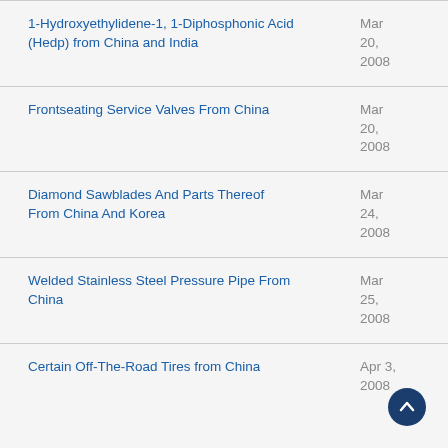1-Hydroxyethylidene-1, 1-Diphosphonic Acid (Hedp) from China and India
Frontseating Service Valves From China
Diamond Sawblades And Parts Thereof From China And Korea
Welded Stainless Steel Pressure Pipe From China
Certain Off-The-Road Tires from China